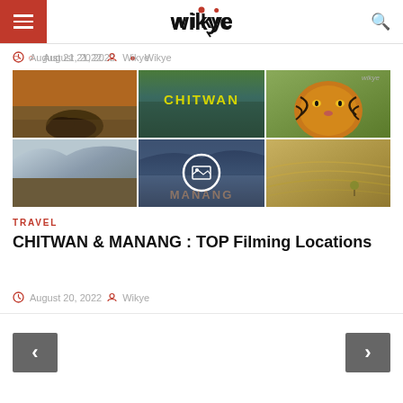wikye
August 21, 2022  Wikye
[Figure (photo): 6-panel collage grid showing Chitwan & Manang locations: wildlife, river, tiger, mountains, misty valley, sand dunes. Center panel has a video play button overlay with 'CHITWAN' and 'MANANG' text labels.]
TRAVEL
CHITWAN & MANANG : TOP Filming Locations
August 20, 2022  Wikye